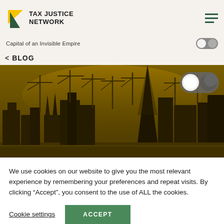TAX JUSTICE NETWORK
Capital of an Invisible Empire
< BLOG
[Figure (photo): Sepia-toned cityscape of London skyline showing construction cranes, The Shard skyscraper, and other buildings silhouetted against a dramatic sky, with a dark golden/amber color filter applied. A toggle switch UI element is visible in the upper right of the image.]
We use cookies on our website to give you the most relevant experience by remembering your preferences and repeat visits. By clicking “Accept”, you consent to the use of ALL the cookies.
Cookie settings   ACCEPT